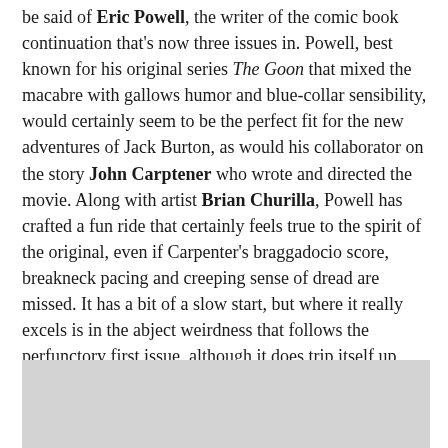be said of Eric Powell, the writer of the comic book continuation that's now three issues in. Powell, best known for his original series The Goon that mixed the macabre with gallows humor and blue-collar sensibility, would certainly seem to be the perfect fit for the new adventures of Jack Burton, as would his collaborator on the story John Carptener who wrote and directed the movie. Along with artist Brian Churilla, Powell has crafted a fun ride that certainly feels true to the spirit of the original, even if Carpenter's braggadocio score, breakneck pacing and creeping sense of dread are missed. It has a bit of a slow start, but where it really excels is in the abject weirdness that follows the perfunctory first issue, although it does trip itself up with easy cultural clichés.
[Figure (photo): Gray placeholder image block at the bottom of the page]